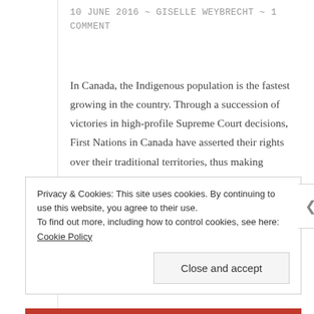10 JUNE 2016 ~ GISELLE WEYBRECHT ~ 1 COMMENT
In Canada, the Indigenous population is the fastest growing in the country. Through a succession of victories in high-profile Supreme Court decisions, First Nations in Canada have asserted their rights over their traditional territories, thus making business and government reliant upon a license to operate from First Nations when they wish to conduct business on … Continue reading
Privacy & Cookies: This site uses cookies. By continuing to use this website, you agree to their use.
To find out more, including how to control cookies, see here: Cookie Policy
Close and accept